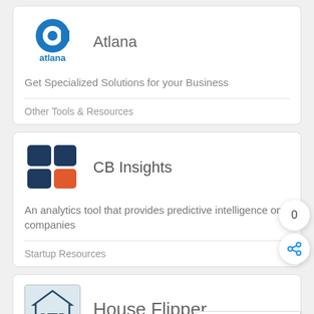[Figure (logo): Atlana logo - blue letter 'a' with 'atlana' text below]
Atlana
Get Specialized Solutions for your Business
Other Tools & Resources
[Figure (logo): CB Insights logo - dark blue and orange square grid icon]
CB Insights
An analytics tool that provides predictive intelligence on companies
Startup Resources
[Figure (logo): House Flipper logo/image - tools icon]
House Flipper